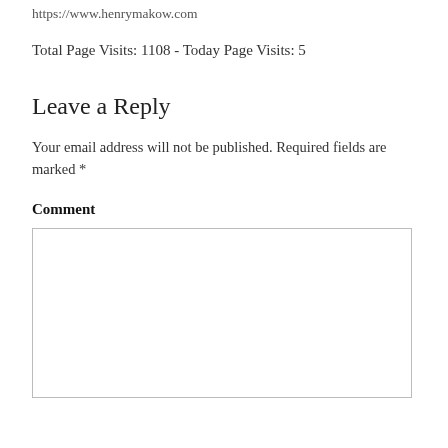https://www.henrymakow.com
Total Page Visits: 1108 - Today Page Visits: 5
Leave a Reply
Your email address will not be published. Required fields are marked *
Comment